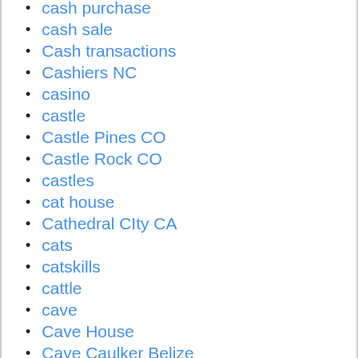cash purchase
cash sale
Cash transactions
Cashiers NC
casino
castle
Castle Pines CO
Castle Rock CO
castles
cat house
Cathedral CIty CA
cats
catskills
cattle
cave
Cave House
Caye Caulker Belize
CC&Rs
Cedar Park TX